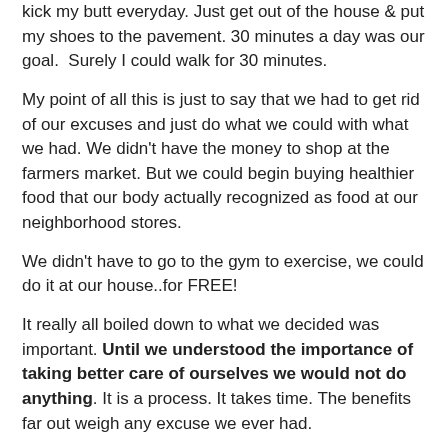kick my butt everyday. Just get out of the house & put my shoes to the pavement. 30 minutes a day was our goal. Surely I could walk for 30 minutes.
My point of all this is just to say that we had to get rid of our excuses and just do what we could with what we had. We didn't have the money to shop at the farmers market. But we could begin buying healthier food that our body actually recognized as food at our neighborhood stores.
We didn't have to go to the gym to exercise, we could do it at our house..for FREE!
It really all boiled down to what we decided was important. Until we understood the importance of taking better care of ourselves we would not do anything. It is a process. It takes time. The benefits far out weigh any excuse we ever had.
You know where I learned this from? Jesus. He takes us the way we are and helps us grow and become more like him. He doesn't have a list of what we need to do before we can become his. We don't have to have our ducks in a row...